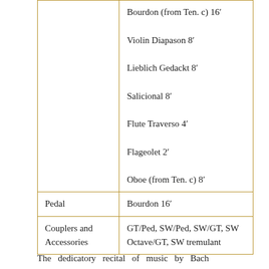| [prev row left] | Bourdon (from Ten. c) 16′
Violin Diapason 8′
Lieblich Gedackt 8′
Salicional 8′
Flute Traverso 4′
Flageolet 2′
Oboe (from Ten. c) 8′ |
| Pedal | Bourdon 16′ |
| Couplers and Accessories | GT/Ped, SW/Ped, SW/GT, SW Octave/GT, SW tremulant |
The dedicatory recital of music by Bach